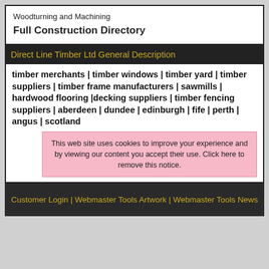Woodturning and Machining
Full Construction Directory
Direct Line Timber Ltd General Description
timber merchants | timber windows | timber yard | timber suppliers | timber frame manufacturers | sawmills | hardwood flooring |decking suppliers | timber fencing suppliers | aberdeen | dundee | edinburgh | fife | perth | angus | scotland
This web site uses cookies to improve your experience and by viewing our content you accept their use. Click here to remove this notice.
Customer Login | Webmaster Tools Artwork | Webmaster Tools News